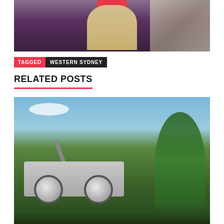[Figure (photo): A woman with long blonde hair sitting at a desk in an office, with documents and displays in the background. A red rectangular label is visible near the top center of the image.]
TAGGED WESTERN SYDNEY
RELATED POSTS
[Figure (photo): A blue and white push lawn mower photographed from the front/side, sitting in long green grass with trees in the background and a blue sky above.]